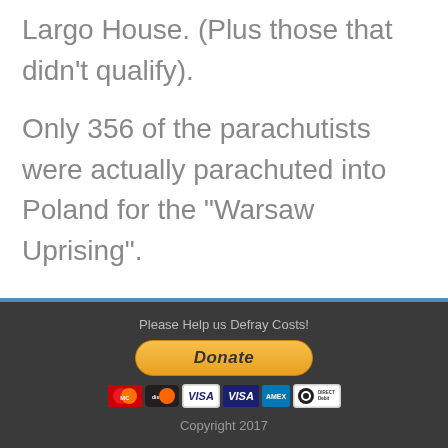Largo House. (Plus those that didn't qualify).
Only 356 of the parachutists were actually parachuted into Poland for the "Warsaw Uprising".
Please Help us Defray Costs!
[Figure (other): PayPal Donate button with payment card icons (MasterCard, Discover, Visa, Visa Debit, Amex, Direct Debit)]
Copyright 2017